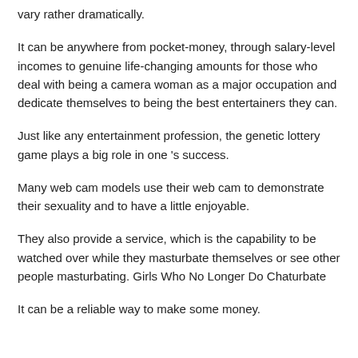vary rather dramatically.
It can be anywhere from pocket-money, through salary-level incomes to genuine life-changing amounts for those who deal with being a camera woman as a major occupation and dedicate themselves to being the best entertainers they can.
Just like any entertainment profession, the genetic lottery game plays a big role in one 's success.
Many web cam models use their web cam to demonstrate their sexuality and to have a little enjoyable.
They also provide a service, which is the capability to be watched over while they masturbate themselves or see other people masturbating. Girls Who No Longer Do Chaturbate
It can be a reliable way to make some money.